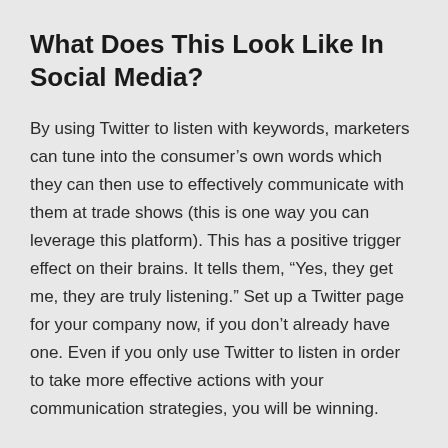What Does This Look Like In Social Media?
By using Twitter to listen with keywords, marketers can tune into the consumer's own words which they can then use to effectively communicate with them at trade shows (this is one way you can leverage this platform). This has a positive trigger effect on their brains. It tells them, “Yes, they get me, they are truly listening.” Set up a Twitter page for your company now, if you don’t already have one. Even if you only use Twitter to listen in order to take more effective actions with your communication strategies, you will be winning.
Monitor Linkedin. Pay attention. When do people mention the problems you solve? When are they sharing those types of blog posts, giving you a door into your first